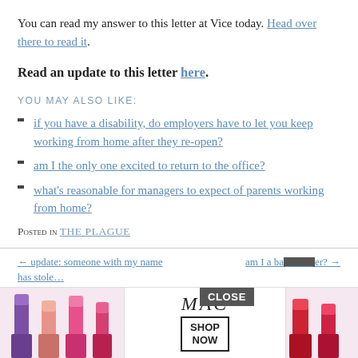You can read my answer to this letter at Vice today. Head over there to read it.
Read an update to this letter here.
YOU MAY ALSO LIKE:
if you have a disability, do employers have to let you keep working from home after they re-open?
am I the only one excited to return to the office?
what's reasonable for managers to expect of parents working from home?
Posted in THE PLAGUE
← update: someone with my name has stole… | am I a ba…er? →